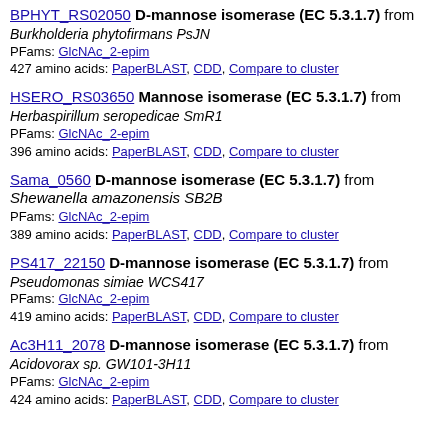BPHYT_RS02050 D-mannose isomerase (EC 5.3.1.7) from Burkholderia phytofirmans PsJN
PFams: GlcNAc_2-epim
427 amino acids: PaperBLAST, CDD, Compare to cluster
HSERO_RS03650 Mannose isomerase (EC 5.3.1.7) from Herbaspirillum seropedicae SmR1
PFams: GlcNAc_2-epim
396 amino acids: PaperBLAST, CDD, Compare to cluster
Sama_0560 D-mannose isomerase (EC 5.3.1.7) from Shewanella amazonensis SB2B
PFams: GlcNAc_2-epim
389 amino acids: PaperBLAST, CDD, Compare to cluster
PS417_22150 D-mannose isomerase (EC 5.3.1.7) from Pseudomonas simiae WCS417
PFams: GlcNAc_2-epim
419 amino acids: PaperBLAST, CDD, Compare to cluster
Ac3H11_2078 D-mannose isomerase (EC 5.3.1.7) from Acidovorax sp. GW101-3H11
PFams: GlcNAc_2-epim
424 amino acids: PaperBLAST, CDD, Compare to cluster